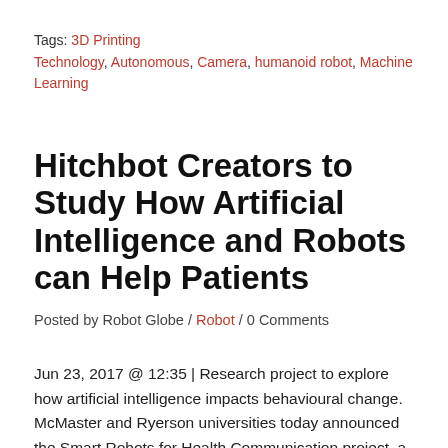Tags: 3D Printing Technology, Autonomous, Camera, humanoid robot, Machine Learning
Hitchbot Creators to Study How Artificial Intelligence and Robots can Help Patients
Posted by Robot Globe / Robot / 0 Comments
Jun 23, 2017 @ 12:35 | Research project to explore how artificial intelligence impacts behavioural change. McMaster and Ryerson universities today announced the Smart Robots for Health Communication project, a joint research initiative designed to introduce social robotics and artificial intelligence into clinical health care. With the help of external.Softbank's humanoid robot Pepper